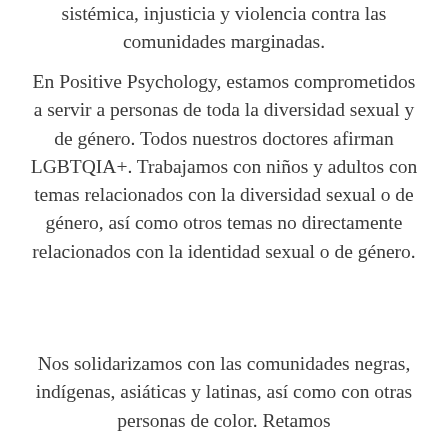sistémica, injusticia y violencia contra las comunidades marginadas.
En Positive Psychology, estamos comprometidos a servir a personas de toda la diversidad sexual y de género. Todos nuestros doctores afirman LGBTQIA+. Trabajamos con niños y adultos con temas relacionados con la diversidad sexual o de género, así como otros temas no directamente relacionados con la identidad sexual o de género.
Nos solidarizamos con las comunidades negras, indígenas, asiáticas y latinas, así como con otras personas de color. Retamos